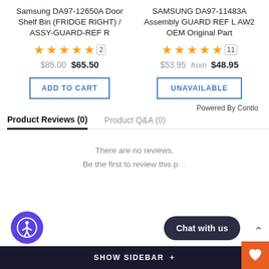Samsung DA97-12650A Door Shelf Bin (FRIDGE RIGHT) / ASSY-GUARD-REF R
★★★★★ (2)
$85.00 $65.50
ADD TO CART
SAMSUNG DA97-11483A Assembly GUARD REF L AW2 OEM Original Part
★★★★★ (11)
$53.95 from $48.95
UNAVAILABLE
Powered By Contlo
Product Reviews (0)
Product Q&A (0)
There are no reviews.
Be the first to review this product.
SHOW SIDEBAR +